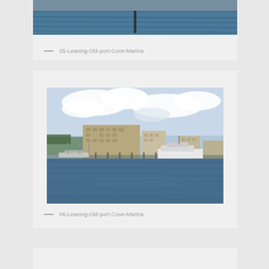[Figure (photo): Partial view of marina/water scene, cropped at top of page]
05-Leaving-Old-port-Cove-Marina
[Figure (photo): Marina scene showing buildings, boats docked at pier, and calm water in foreground with cloudy sky — labeled 06-Leaving-Old-port-Cove-Marina]
06-Leaving-Old-port-Cove-Marina